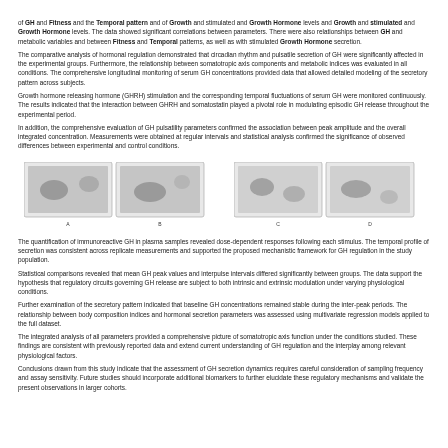of GH and Fitness and the Temporal pattern and of Growth and stimulated and Growth Hormone levels. The data showed significant correlations between parameters.
The comparative analysis of hormonal regulation demonstrated that circadian rhythm and pulsatile secretion of GH were significantly affected in the experimental groups. Furthermore, the relationship between somatotropic axis components and metabolic indices was evaluated in all conditions.
Growth hormone releasing hormone (GHRH) stimulation and the corresponding temporal fluctuations of serum GH were monitored continuously. The results indicated that the interaction between GHRH and somatostatin played a pivotal role in modulating episodic GH release throughout the experimental period.
In addition, the comprehensive evaluation of GH pulsatility parameters confirmed the association between peak amplitude and the overall integrated concentration. Measurements were obtained at regular intervals and statistical analysis confirmed the significance of observed differences.
[Figure (other): Two scientific figures showing data plots or microscopy images related to GH or hormonal parameters, arranged side by side in a two-column layout.]
The quantification of immunoreactive GH in plasma samples revealed dose-dependent responses following each stimulus. The temporal profile of secretion was consistent across replicate measurements and supported the proposed mechanistic framework.
Statistical comparisons revealed that mean GH peak values and interpulse intervals differed significantly between groups. The data support the hypothesis that regulatory circuits governing GH release are subject to both intrinsic and extrinsic modulation.
Further examination of the secretory pattern indicated that baseline GH concentrations remained stable during the inter-peak periods. The relationship between body composition indices and hormonal secretion parameters was assessed using multivariate regression models.
The integrated analysis of all parameters provided a comprehensive picture of somatotropic axis function under the conditions studied. These findings are consistent with previously reported data and extend current understanding of GH regulation.
Conclusions drawn from this study indicate that the assessment of GH secretion dynamics requires careful consideration of sampling frequency and assay sensitivity. Future studies should incorporate additional biomarkers to further elucidate these regulatory mechanisms.